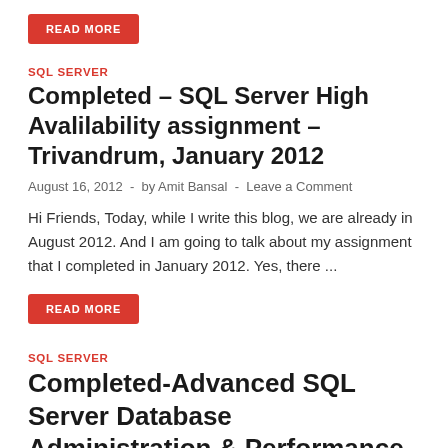READ MORE
SQL SERVER
Completed – SQL Server High Avalilability assignment –Trivandrum, January 2012
August 16, 2012  -  by Amit Bansal  -  Leave a Comment
Hi Friends, Today, while I write this blog, we are already in August 2012. And I am going to talk about my assignment that I completed in January 2012. Yes, there ...
READ MORE
SQL SERVER
Completed-Advanced SQL Server Database Administration & Performance